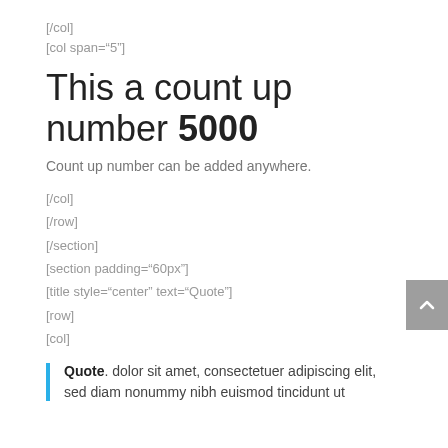[/col]
[col span="5"]
This a count up number 5000
Count up number can be added anywhere.
[/col]
[/row]
[/section]
[section padding="60px"]
[title style="center" text="Quote"]
[row]
[col]
Quote. dolor sit amet, consectetuer adipiscing elit, sed diam nonummy nibh euismod tincidunt ut